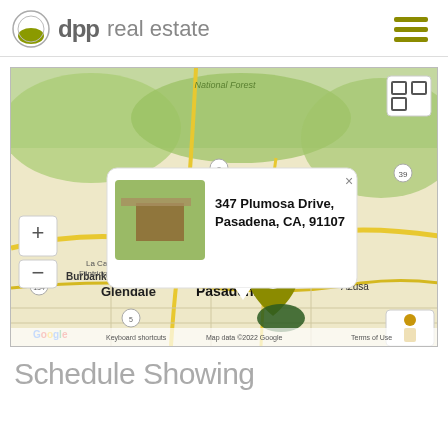dpp real estate
[Figure (map): Google Map showing location of 347 Plumosa Drive, Pasadena, CA, 91107 with a popup info window containing a house photo and address, map controls, and Pegman icon visible. Area shows Glendale, Pasadena, La Canada Flintridge, Burbank, Azusa nearby.]
Schedule Showing